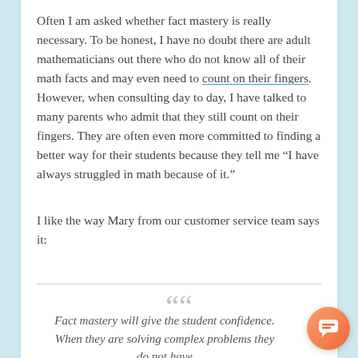Often I am asked whether fact mastery is really necessary. To be honest, I have no doubt there are adult mathematicians out there who do not know all of their math facts and may even need to count on their fingers. However, when consulting day to day, I have talked to many parents who admit that they still count on their fingers. They are often even more committed to finding a better way for their students because they tell me “I have always struggled in math because of it.”
I like the way Mary from our customer service team says it:
Fact mastery will give the student confidence. When they are solving complex problems they do not have